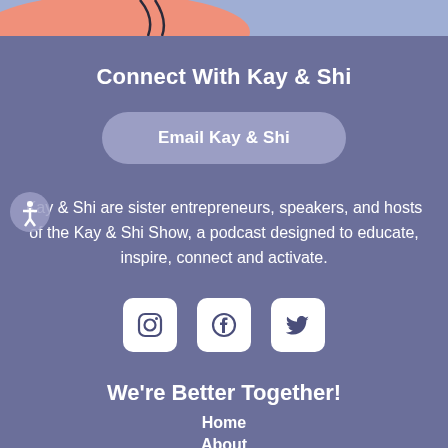[Figure (illustration): Top decorative banner with pink/salmon shape on left and light blue/lavender background, with dark hair strand details]
Connect With Kay & Shi
Email Kay & Shi
Kay & Shi are sister entrepreneurs, speakers, and hosts of the Kay & Shi Show, a podcast designed to educate, inspire, connect and activate.
[Figure (illustration): Three social media icon boxes (Instagram, Facebook, Twitter) with white rounded square backgrounds and dark icons]
We're Better Together!
Home
About
Services